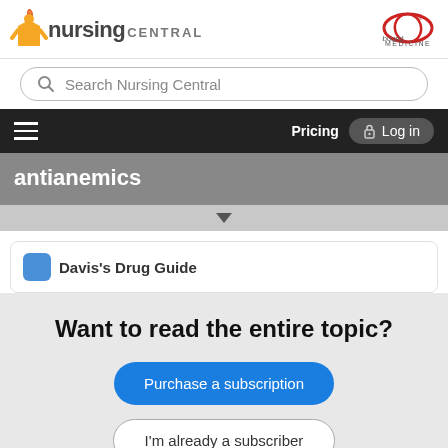[Figure (logo): Nursing Central logo with orange nurse icon and 'nursing CENTRAL' text, plus Unbound Medicine logo in top right]
Search Nursing Central
Pricing  Log in
antianemics
Davis's Drug Guide
Want to read the entire topic?
Purchase a subscription
I'm already a subscriber
Browse sample topics